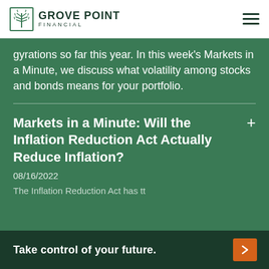Grove Point Financial
gyrations so far this year. In this week's Markets in a Minute, we discuss what volatility among stocks and bonds means for your portfolio.
Markets in a Minute: Will the Inflation Reduction Act Actually Reduce Inflation?
08/16/2022
The Inflation Reduction Act has tt...
Take control of your future.